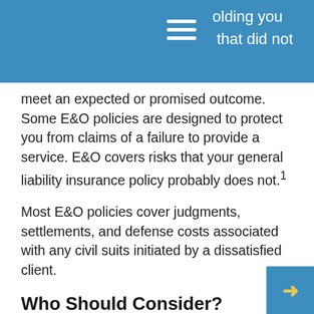olding you | that did not
meet an expected or promised outcome. Some E&O policies are designed to protect you from claims of a failure to provide a service. E&O covers risks that your general liability insurance policy probably does not.¹
Most E&O policies cover judgments, settlements, and defense costs associated with any civil suits initiated by a dissatisfied client.
Who Should Consider?
While E&O insurance is commonly associated with professionals such as doctors, lawyers, and financial professionals, anyone in the business of providing a service for a fee should consider obtaining coverage.